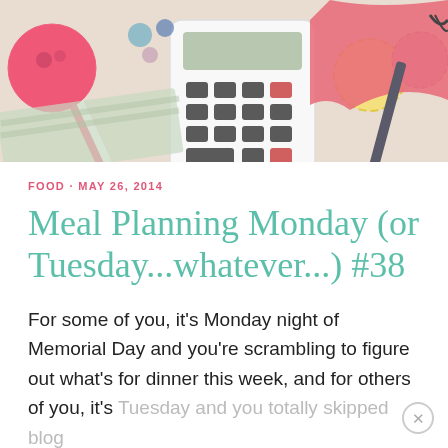[Figure (photo): Flat-lay photo of crafting and office supplies including a calculator, buttons, yarn balls, pencil, scissors, fabric, and a red striped candy stick on a light background.]
FOOD · MAY 26, 2014
Meal Planning Monday (or Tuesday...whatever...) #38
For some of you, it's Monday night of Memorial Day and you're scrambling to figure out what's for dinner this week, and for others of you, it's Tuesday and you totally skipped blog